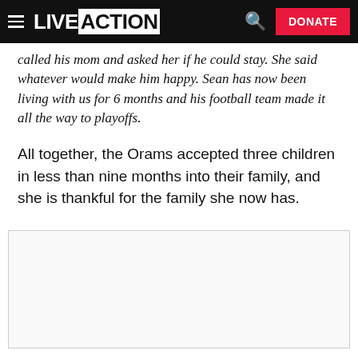LIVE ACTION | DONATE
called his mom and asked her if he could stay. She said whatever would make him happy. Sean has now been living with us for 6 months and his football team made it all the way to playoffs.
All together, the Orams accepted three children in less than nine months into their family, and she is thankful for the family she now has.
[Figure (other): Empty bordered box, likely a placeholder for an image or embedded content]